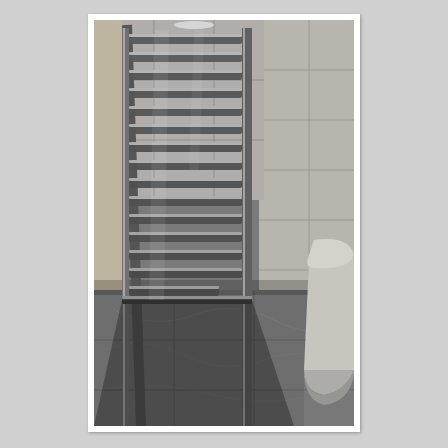[Figure (photo): A bathroom scene showing a tall chrome ladder-style towel radiator/rail mounted on the wall next to a white tiled wall. The floor has grey marble-effect tiles. A toilet is partially visible in the right portion of the image. The radiator has multiple horizontal chrome bars. The image is taken from a perspective showing the bathroom corner.]